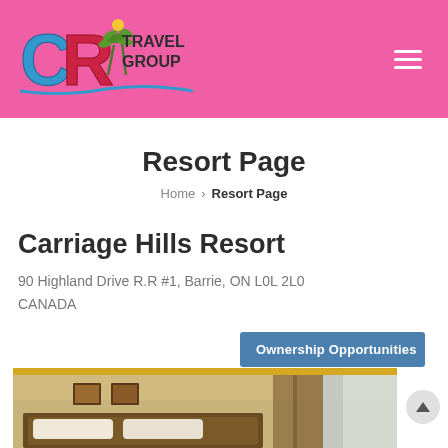[Figure (logo): CR Travel Group logo with palm trees on pink background]
Resort Page
Home > Resort Page
Carriage Hills Resort
90 Highland Drive R.R #1, Barrie, ON L0L 2L0 CANADA
Ownership Opportunities
[Figure (photo): Interior hotel room photo showing bed, artwork, and curtains]